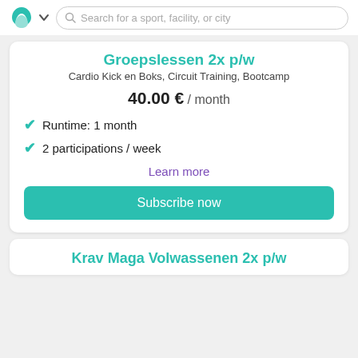Search for a sport, facility, or city
Groepslessen 2x p/w
Cardio Kick en Boks, Circuit Training, Bootcamp
40.00 € / month
Runtime: 1 month
2 participations / week
Learn more
Subscribe now
Krav Maga Volwassenen 2x p/w